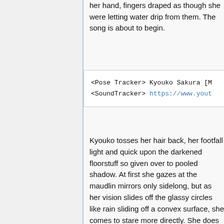her hand, fingers draped as though she were letting water drip from them. The song is about to begin.
<Pose Tracker> Kyouko Sakura [M
<SoundTracker> https://www.yout
Kyouko tosses her hair back, her footfall light and quick upon the darkened floorstuff so given over to pooled shadow. At first she gazes at the maudlin mirrors only sidelong, but as her vision slides off the glassy circles like rain sliding off a convex surface, she comes to stare more directly. She does not flinch as the gallery's portraiture comes into view, each little cameo plucked away from a life stolen young. What